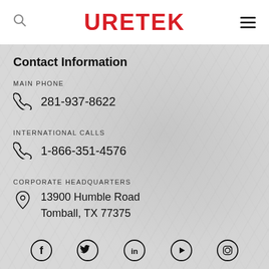[Figure (logo): URETEK logo in bold red text with search icon on left and hamburger menu on right]
Contact Information
MAIN PHONE
281-937-8622
INTERNATIONAL CALLS
1-866-351-4576
CORPORATE HEADQUARTERS
13900 Humble Road
Tomball, TX 77375
[Figure (infographic): Social media icons row: Facebook, Twitter, LinkedIn, YouTube, Instagram]